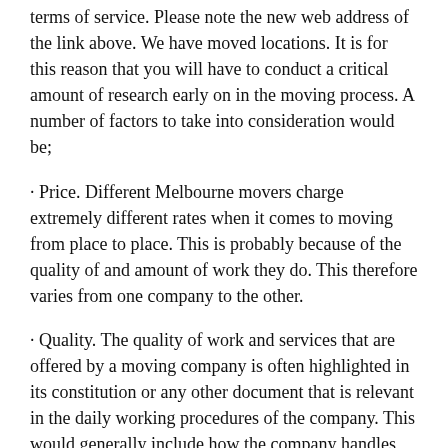terms of service. Please note the new web address of the link above. We have moved locations. It is for this reason that you will have to conduct a critical amount of research early on in the moving process. A number of factors to take into consideration would be;
· Price. Different Melbourne movers charge extremely different rates when it comes to moving from place to place. This is probably because of the quality of and amount of work they do. This therefore varies from one company to the other.
· Quality. The quality of work and services that are offered by a moving company is often highlighted in its constitution or any other document that is relevant in the daily working procedures of the company. This would generally include how the company handles your goods and products.